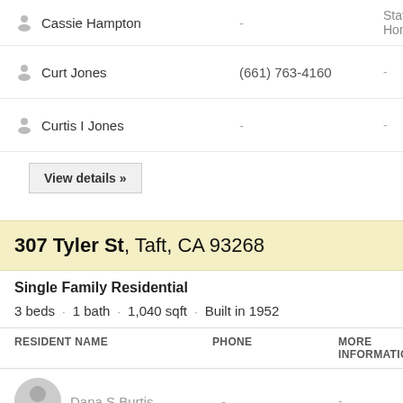Cassie Hampton — Status: Homeowner
Curt Jones (661) 763-4160 —
Curtis I Jones — —
View details »
307 Tyler St, Taft, CA 93268
Single Family Residential
3 beds · 1 bath · 1,040 sqft · Built in 1952
| RESIDENT NAME | PHONE | MORE INFORMATION |
| --- | --- | --- |
| Dana S Burtis | - | - |
| Albert Espinoza | (661) 765-5463 | Status: Homeowner |